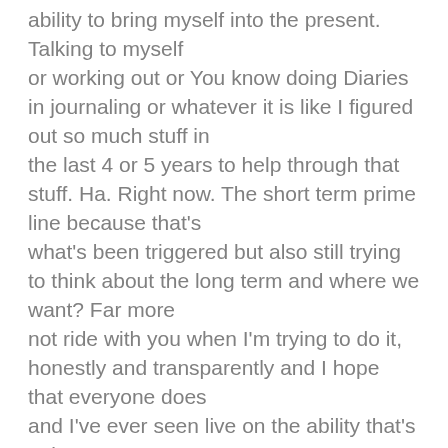ability to bring myself into the present. Talking to myself or working out or You know doing Diaries in journaling or whatever it is like I figured out so much stuff in the last 4 or 5 years to help through that stuff. Ha. Right now. The short term prime line because that's what's been triggered but also still trying to think about the long term and where we want? Far more not ride with you when I'm trying to do it, honestly and transparently and I hope that everyone does and I've ever seen live on the ability that's going on.